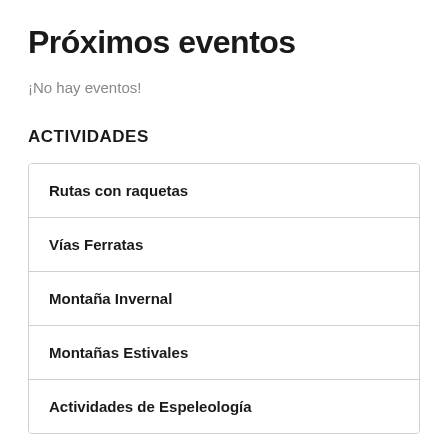Próximos eventos
¡No hay eventos!
ACTIVIDADES
Rutas con raquetas
Vías Ferratas
Montaña Invernal
Montañas Estivales
Actividades de Espeleología